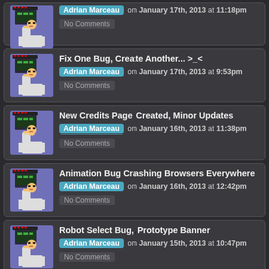Adrian Marceau on January 17th, 2013 at 11:18pm
No Comments
Fix One Bug, Create Another... >_<
Adrian Marceau on January 17th, 2013 at 9:53pm
No Comments
New Credits Page Created, Minor Updates
Adrian Marceau on January 16th, 2013 at 11:38pm
No Comments
Animation Bug Crashing Browsers Everywhere
Adrian Marceau on January 16th, 2013 at 12:42pm
No Comments
Robot Select Bug, Prototype Banner
Adrian Marceau on January 15th, 2013 at 10:47pm
No Comments
More Screenshots Uploaded to Imgur Album
Adrian Marceau on January 14th, 2013 at 11:21pm
No Comments